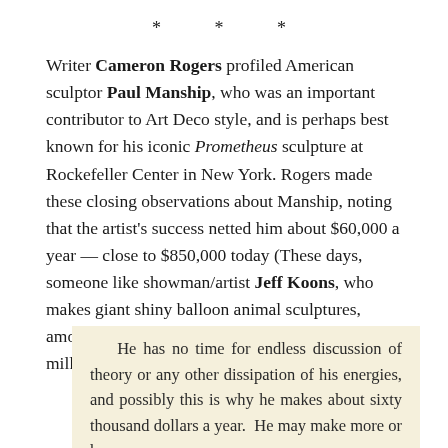* * *
Writer Cameron Rogers profiled American sculptor Paul Manship, who was an important contributor to Art Deco style, and is perhaps best known for his iconic Prometheus sculpture at Rockefeller Center in New York. Rogers made these closing observations about Manship, noting that the artist's success netted him about $60,000 a year — close to $850,000 today (These days, someone like showman/artist Jeff Koons, who makes giant shiny balloon animal sculptures, among other things, has a net worth of at least $100 million).
He has no time for endless discussion of theory or any other dissipation of his energies, and possibly this is why he makes about sixty thousand dollars a year. He may make more or he may